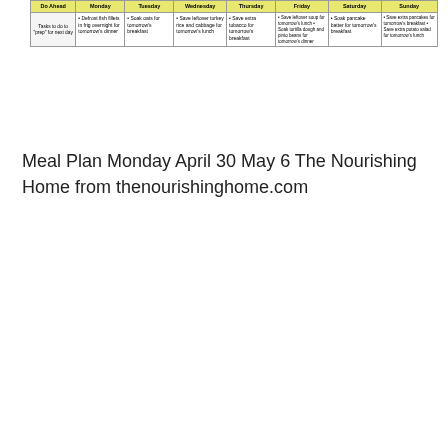| Do Ahead | Monday | Tuesday | Wednesday | Thursday | Friday | Saturday | Sunday |
| --- | --- | --- | --- | --- | --- | --- | --- |
| Tasks to do to "prep" for next day | • Defrost fish fillets in frig overnight for tomorrow's dinner | • Soak oats for tomorrow's breakfast | • Save leftover turkey rice and cabbage for tomorrow's lunch | • Save extra tobacco for tomorrow's breakfast | • Save leftover soup for tomorrow's lunch • Soak tortilla dough and pinto beans for tomorrow's dinner | • Soak pancake batter for tomorrow's breakfast | • Save extra pancakes for tomorrow's breakfast • Save extra potato salad for tomorrow's lunch |
Meal Plan Monday April 30 May 6 The Nourishing Home from thenourishinghome.com